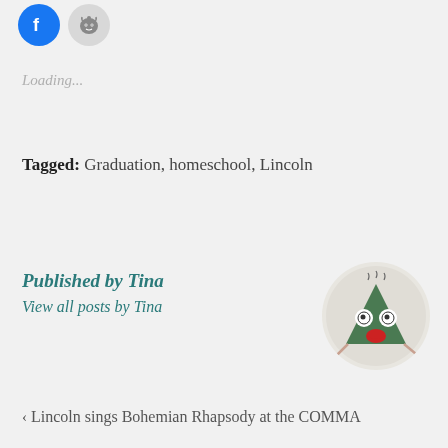[Figure (illustration): Two social share buttons: a blue circular Facebook icon and a light grey circular Reddit icon]
Loading...
Tagged: Graduation, homeschool, Lincoln
Published by Tina
View all posts by Tina
[Figure (illustration): Circular avatar image showing a cartoon green triangle character with googly eyes and a red mouth, styled as a quirky monster/mascot]
‹ Lincoln sings Bohemian Rhapsody at the COMMA